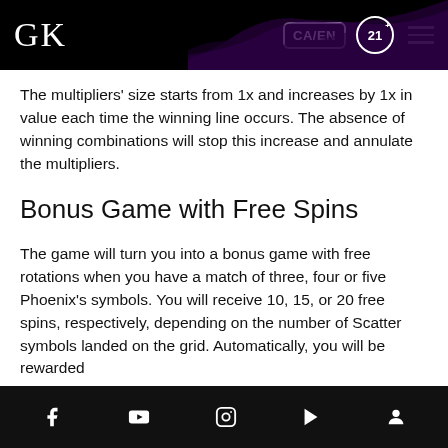GK  CA/EN  21+
The multipliers' size starts from 1x and increases by 1x in value each time the winning line occurs. The absence of winning combinations will stop this increase and annulate the multipliers.
Bonus Game with Free Spins
The game will turn you into a bonus game with free rotations when you have a match of three, four or five Phoenix's symbols. You will receive 10, 15, or 20 free spins, respectively, depending on the number of Scatter symbols landed on the grid. Automatically, you will be rewarded
Facebook | YouTube | Instagram | Play Store | Account